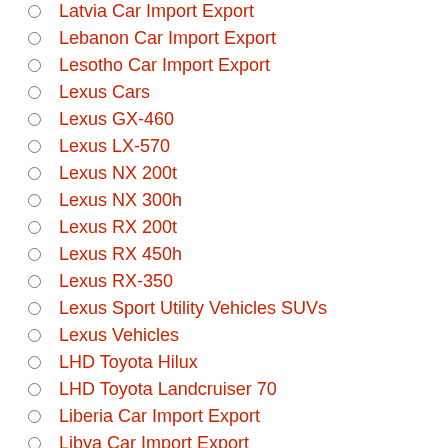Latvia Car Import Export
Lebanon Car Import Export
Lesotho Car Import Export
Lexus Cars
Lexus GX-460
Lexus LX-570
Lexus NX 200t
Lexus NX 300h
Lexus RX 200t
Lexus RX 450h
Lexus RX-350
Lexus Sport Utility Vehicles SUVs
Lexus Vehicles
LHD Toyota Hilux
LHD Toyota Landcruiser 70
Liberia Car Import Export
Libya Car Import Export